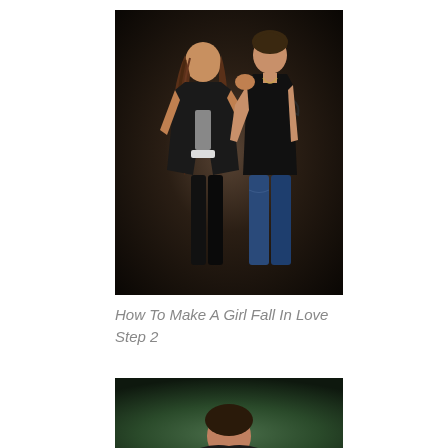[Figure (photo): A young couple posed together against a dark background. A woman with long wavy brown hair wearing a black leather jacket and black pants stands beside a young man in a black tank top and blue jeans.]
How To Make A Girl Fall In Love Step 2
[Figure (photo): A person photographed against a dark green background, partially visible, cropped at the bottom of the page.]